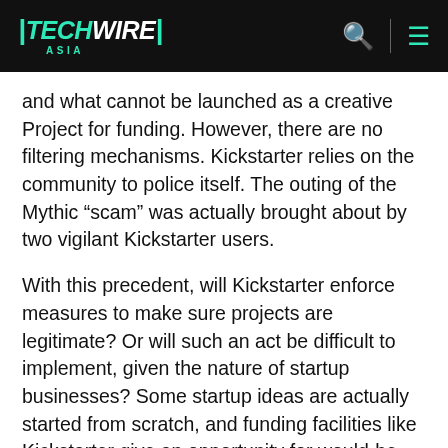TECHWIRE ASIA
and what cannot be launched as a creative Project for funding. However, there are no filtering mechanisms. Kickstarter relies on the community to police itself. The outing of the Mythic “scam” was actually brought about by two vigilant Kickstarter users.
With this precedent, will Kickstarter enforce measures to make sure projects are legitimate? Or will such an act be difficult to implement, given the nature of startup businesses? Some startup ideas are actually started from scratch, and funding facilities like Kickstarter give an opportunity for would-be entrepreneurs to turn their creative ideas